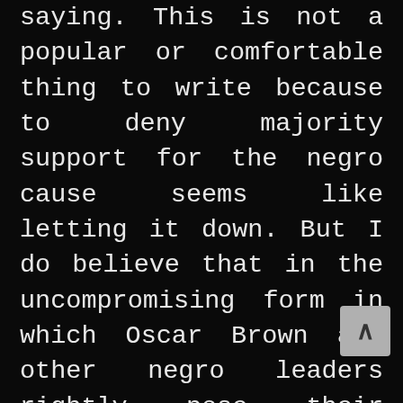saying. This is not a popular or comfortable thing to write because to deny majority support for the negro cause seems like letting it down. But I do believe that in the uncompromising form in which Oscar Brown and other negro leaders rightly pose their claims the negro programme will just not come home to most white people, even in a country so far from the centre of the battle as England. They have been used to too many centuries of belief in their superiority to understand that they are no longer being asked for sympathy (this better white people have found easy for a long time), no, they are being told what